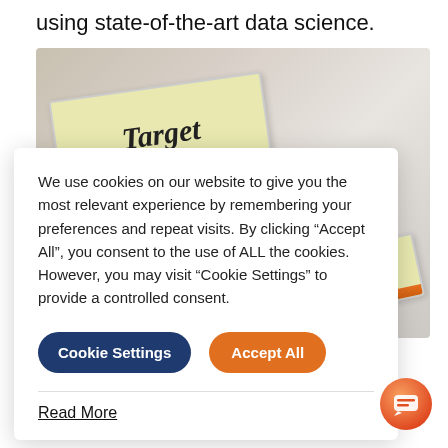using state-of-the-art data science.
[Figure (photo): Close-up photo of a folder/binder spine with bold italic text 'Target' and an orange stripe, with another partially visible label in the background.]
We use cookies on our website to give you the most relevant experience by remembering your preferences and repeat visits. By clicking “Accept All”, you consent to the use of ALL the cookies. However, you may visit "Cookie Settings" to provide a controlled consent.
Cookie Settings
Accept All
Read More